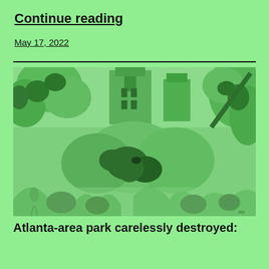Continue reading
May 17, 2022
[Figure (illustration): Green-tinted watercolor or painted illustration showing a lush outdoor scene with foliage, plants, trees, and what appears to be structures or buildings in the background. The entire image has a monochromatic green overlay.]
Atlanta-area park carelessly destroyed: